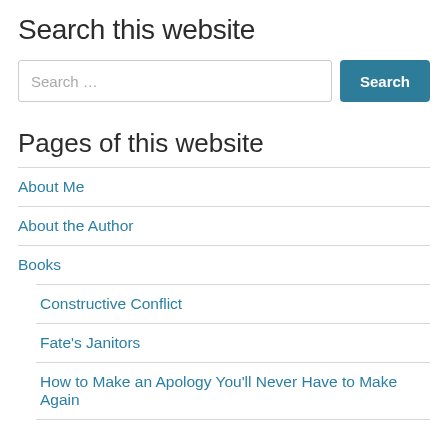Search this website
[Figure (other): Search input box with placeholder text 'Search ...' and a teal 'Search' button]
Pages of this website
About Me
About the Author
Books
Constructive Conflict
Fate's Janitors
How to Make an Apology You'll Never Have to Make Again